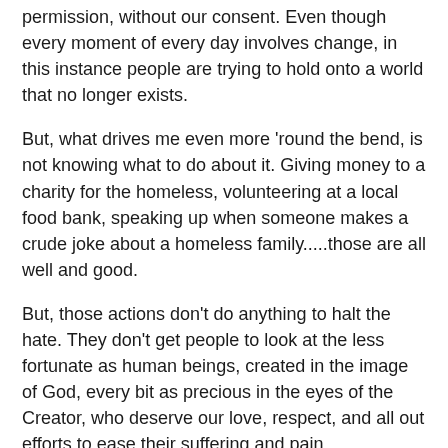permission, without our consent. Even though every moment of every day involves change, in this instance people are trying to hold onto a world that no longer exists.
But, what drives me even more 'round the bend, is not knowing what to do about it. Giving money to a charity for the homeless, volunteering at a local food bank, speaking up when someone makes a crude joke about a homeless family.....those are all well and good.
But, those actions don't do anything to halt the hate. They don't get people to look at the less fortunate as human beings, created in the image of God, every bit as precious in the eyes of the Creator, who deserve our love, respect, and all out efforts to ease their suffering and pain.
We can disagree with a choice they have made, or see how a series of decisions caused a problem. But, nowhere in the teachings of Jesus, or of simple human decency, can I find it is OK to treat them like disposable human beings, or to line our own pockets while pushing them even deeper into the muck.